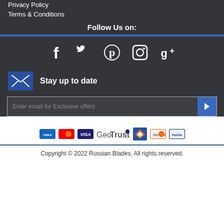Privacy Policy
Terms & Conditions
Follow Us on:
[Figure (infographic): Social media icons: Facebook, Twitter, Pinterest, Instagram, Google+]
Stay up to date
Enter email for Exclusive offers
[Figure (infographic): Payment logos: American Express, MasterCard, Visa, GeoTrust SSL, Discover, PayPal]
Copyright © 2022 Russian Blades. All rights reserved.